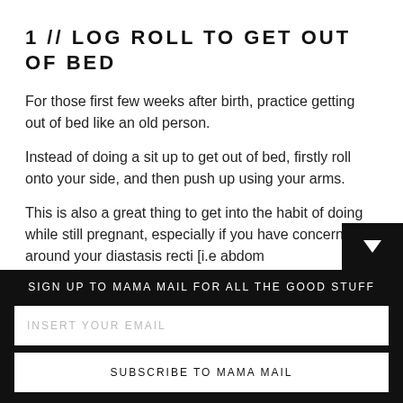1 // LOG ROLL TO GET OUT OF BED
For those first few weeks after birth, practice getting out of bed like an old person.
Instead of doing a sit up to get out of bed, firstly roll onto your side, and then push up using your arms.
This is also a great thing to get into the habit of doing while still pregnant, especially if you have concerns around your diastasis recti [i.e abdom... (truncated)
SIGN UP TO MAMA MAIL FOR ALL THE GOOD STUFF
INSERT YOUR EMAIL
SUBSCRIBE TO MAMA MAIL